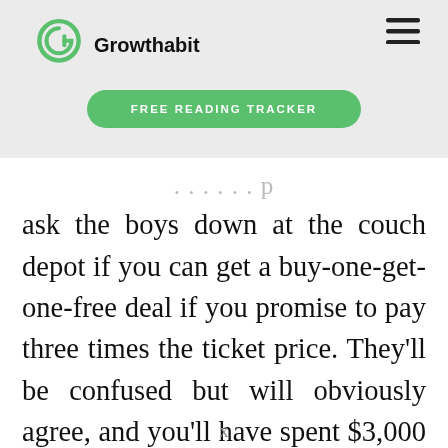[Figure (logo): Growthabit logo: green spiral G icon above the bold text 'Growthabit']
[Figure (other): Hamburger menu icon (three horizontal lines) in top right corner]
[Figure (other): Green rounded button labeled 'FREE READING TRACKER']
ask the boys down at the couch depot if you can get a buy-one-get-one-free deal if you promise to pay three times the ticket price. They'll be confused but will obviously agree, and you'll have spent $3,000 on two
X